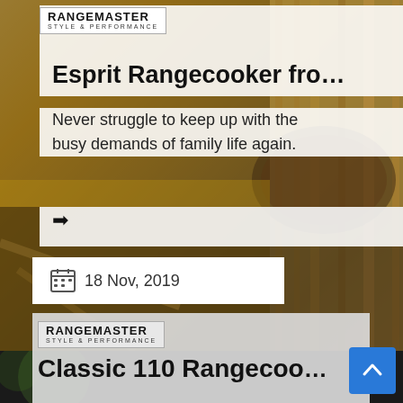[Figure (photo): Background food photo showing pasta/penne and a bowl, dark moody kitchen setting]
RANGEmaster
STYLE & PERFORMANCE
Esprit Rangecooker fro…
Never struggle to keep up with the busy demands of family life again.
→
18 Nov, 2019
[Figure (photo): Background food photo (bottom section), dark background with green herbs visible]
RANGEmaster
STYLE & PERFORMANCE
Classic 110 Rangecoo…